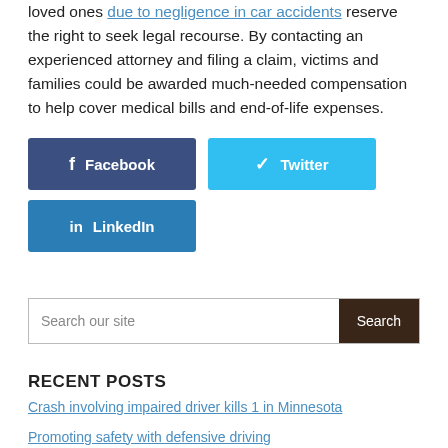loved ones due to negligence in car accidents reserve the right to seek legal recourse. By contacting an experienced attorney and filing a claim, victims and families could be awarded much-needed compensation to help cover medical bills and end-of-life expenses.
[Figure (other): Social share buttons for Facebook, Twitter, and LinkedIn]
[Figure (other): Search bar with text 'Search our site' and a dark brown Search button]
RECENT POSTS
Crash involving impaired driver kills 1 in Minnesota
Promoting safety with defensive driving
Truck accident claims 3 lives in Minnesota